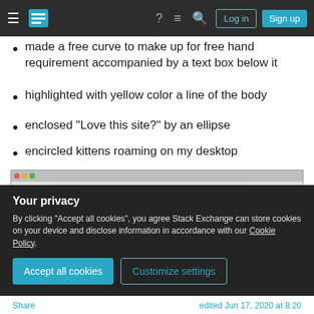Stack Exchange navigation bar with hamburger menu, logo, help, chat, search, Log in, Sign up buttons
made a free curve to make up for free hand requirement accompanied by a text box below it
highlighted with yellow color a line of the body
enclosed "Love this site?" by an ellipse
encircled kittens roaming on my desktop
[Figure (screenshot): Screenshot of a Software Recommendations Stack Exchange page showing annotation tools, a highlighted text box, a question about simple programs for screenshots on Linux, and a turtle/cat image thumbnail.]
Your privacy
By clicking "Accept all cookies", you agree Stack Exchange can store cookies on your device and disclose information in accordance with our Cookie Policy.
Accept all cookies   Customize settings
Share   edited Jun 17, 2020 at 8:20